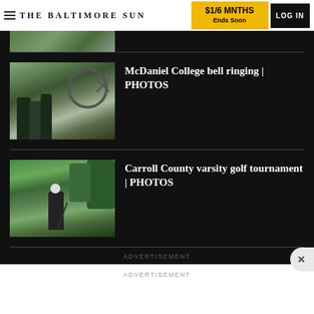THE BALTIMORE SUN | $1/6 MNTHS Ends Soon | LOG IN
[Figure (photo): Partial thumbnail photo at top, cropped outdoor scene]
[Figure (photo): McDaniel College bell ringing photo — people outdoors near a large wheel sculpture on a brick campus]
McDaniel College bell ringing | PHOTOS
[Figure (photo): Carroll County varsity golf tournament photo — golfer on a green outdoor course]
Carroll County varsity golf tournament | PHOTOS
ADVERTISEMENT
ADVERTISEMENT